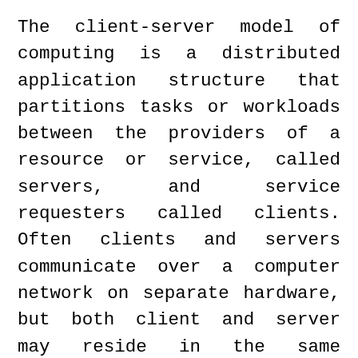The client-server model of computing is a distributed application structure that partitions tasks or workloads between the providers of a resource or service, called servers, and service requesters called clients. Often clients and servers communicate over a computer network on separate hardware, but both client and server may reside in the same system. A server machine is a host that is running one or more server programs which share their resources with clients.